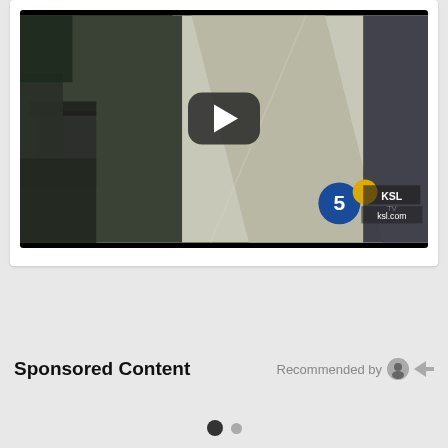[Figure (screenshot): Security camera footage screenshot from a store interior showing shopping carts and store aisles, with a YouTube-style play button overlay in the center. KSL TV 5 logo watermark visible in bottom right corner.]
Sponsored Content
Recommended by